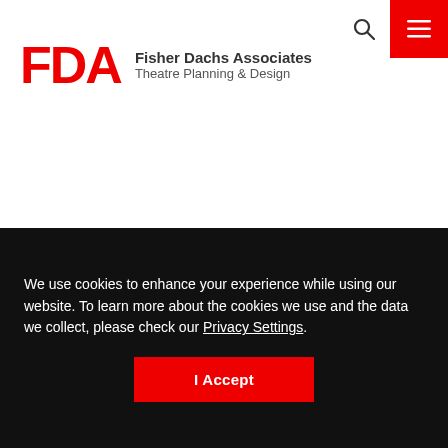[Figure (logo): FDA Fisher Dachs Associates Theatre Planning & Design logo with red FDA letters]
Project Details
Architect: HKS
We use cookies to enhance your experience while using our website. To learn more about the cookies we use and the data we collect, please check our Privacy Settings.
I Accept